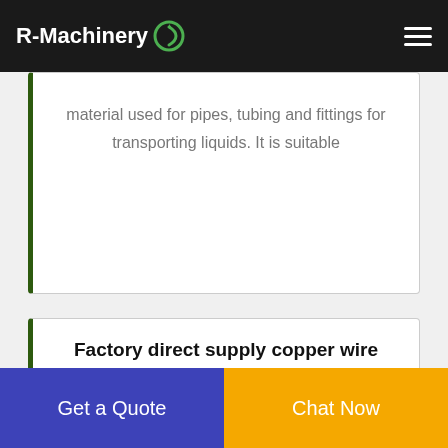R-Machinery
material used for pipes, tubing and fittings for transporting liquids. It is suitable
Factory direct supply copper wire recycling machine price
Copper wire granulator for sale is a kind of copper wire recycling machine to recycle or extract copper and plastic from scrap copper wires, direct manufacturer, low cost high quality market@china-doing Tel
Get a Quote
Chat Now